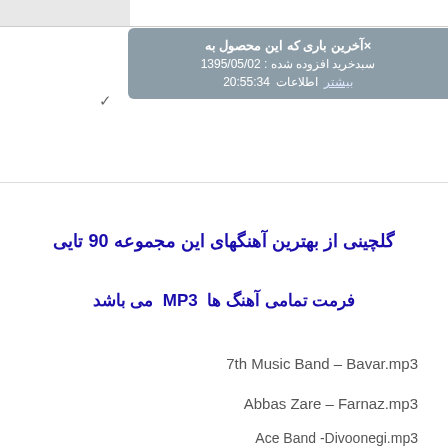×آخرین باری که این محصول به سبدخرید افزوده شده : 1395/05/02 20:55:34 اطلاعات بیشتر
گلچینی از بهترین آهنگهای این مجموعه 90 تایی
فرمت تمامی آهنگ ها  MP3  می باشد
7th Music Band – Bavar.mp3
Abbas Zare – Farnaz.mp3
Ace Band -Divoonegi.mp3
Ali Lohrabi – Vaghti Mjav.mp3